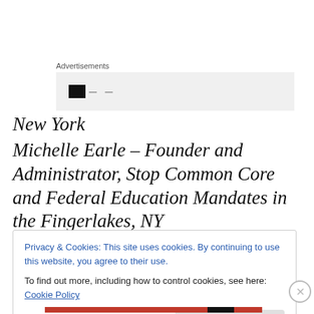Advertisements
[Figure (other): Advertisement banner placeholder with dark icon and dots on grey background]
New York
Michelle Earle – Founder and Administrator, Stop Common Core and Federal Education Mandates in the Fingerlakes, NY
Privacy & Cookies: This site uses cookies. By continuing to use this website, you agree to their use.
To find out more, including how to control cookies, see here: Cookie Policy
Close and accept